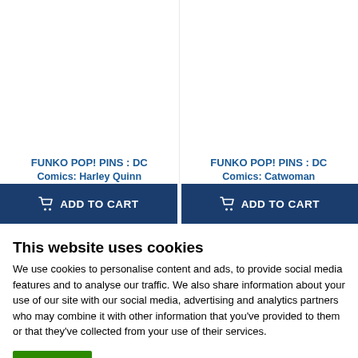FUNKO POP! PINS : DC Comics: Harley Quinn
FUNKO POP! PINS : DC Comics: Catwoman
ADD TO CART
ADD TO CART
This website uses cookies
We use cookies to personalise content and ads, to provide social media features and to analyse our traffic. We also share information about your use of our site with our social media, advertising and analytics partners who may combine it with other information that you've provided to them or that they've collected from your use of their services.
OK
Show details